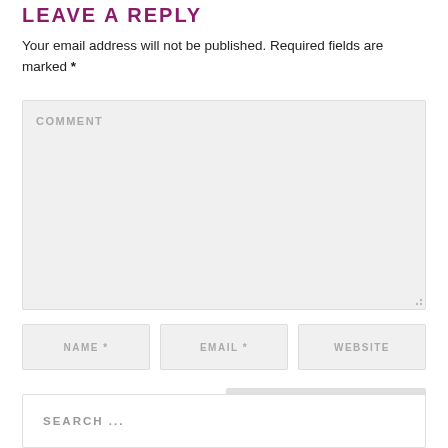LEAVE A REPLY
Your email address will not be published. Required fields are marked *
[Figure (screenshot): Comment textarea input field with placeholder text 'COMMENT' and resize handle]
[Figure (screenshot): Three input fields: NAME *, EMAIL *, WEBSITE]
[Figure (screenshot): POST COMMENT button]
[Figure (screenshot): Search box with placeholder text 'SEARCH ...']